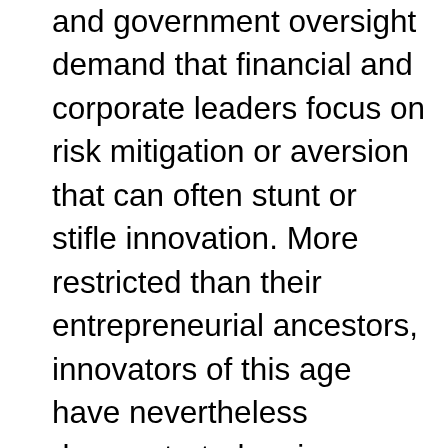and government oversight demand that financial and corporate leaders focus on risk mitigation or aversion that can often stunt or stifle innovation. More restricted than their entrepreneurial ancestors, innovators of this age have nevertheless demonstrated an iron stomach for gambling, too. Warren Buffet, for instance, made a fortune discovering under-valued assets and investing in them. Bill Gates introduced the Home Computer, and Steve Jobs allowed us to hold that computer in the very palm of our hands. But it was John Keabler's portrayal of the great Charles M. Schwab that shifted my point-of-view about risk from a cautionary tale to a critique on human reason. Jobs was